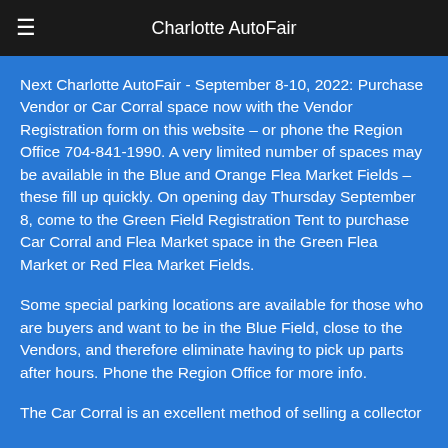Charlotte AutoFair
Next Charlotte AutoFair - September 8-10, 2022: Purchase Vendor or Car Corral space now with the Vendor Registration form on this website – or phone the Region Office 704-841-1990. A very limited number of spaces may be available in the Blue and Orange Flea Market Fields – these fill up quickly. On opening day Thursday September 8, come to the Green Field Registration Tent to purchase Car Corral and Flea Market space in the Green Flea Market or Red Flea Market Fields.
Some special parking locations are available for those who are buyers and want to be in the Blue Field, close to the Vendors, and therefore eliminate having to pick up parts after hours. Phone the Region Office for more info.
The Car Corral is an excellent method of selling a collector